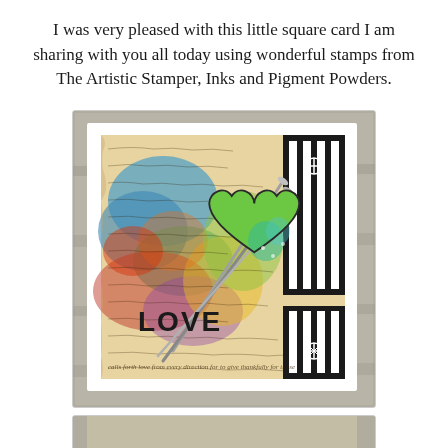I was very pleased with this little square card I am sharing with you all today using wonderful stamps from The Artistic Stamper, Inks and Pigment Powders.
[Figure (photo): A handmade square card displayed on a stone/concrete surface. The card features colorful mixed media art with blues, reds, yellows and greens with handwritten script text overlaid. A large green heart shape is prominent on the right side. The word LOVE appears in block letters. Black and white striped elements and metallic/silver arrow/needle-like embellishments are also visible.]
[Figure (photo): Partial view of a second card or craft project, only the top portion is visible at the bottom of the page.]